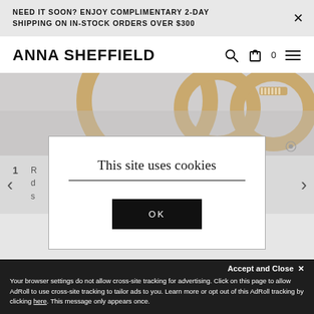NEED IT SOON? ENJOY COMPLIMENTARY 2-DAY SHIPPING ON IN-STOCK ORDERS OVER $300
ANNA SHEFFIELD
[Figure (photo): Close-up product photo of gold rings on a light gray background]
1  R... that o... ng's s...
[Figure (screenshot): Cookie consent modal dialog with title 'This site uses cookies' and an OK button]
Accept and Close ×
Your browser settings do not allow cross-site tracking for advertising. Click on this page to allow AdRoll to use cross-site tracking to tailor ads to you. Learn more or opt out of this AdRoll tracking by clicking here. This message only appears once.